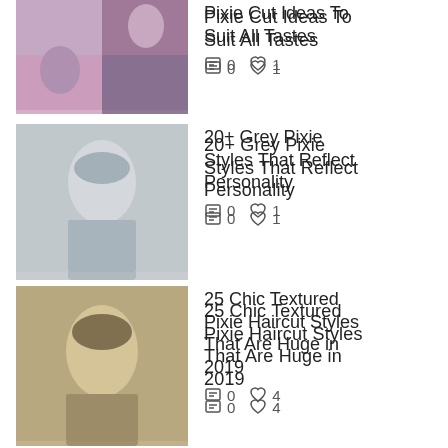[Figure (photo): Collage of pixie cut hairstyle photos]
Pixie Cut Ideas To Suit All Tastes
0  1
[Figure (photo): Woman with short grey pixie cut smiling]
20+ Grey Pixie Styles That Reflect Personality
0  1
[Figure (photo): Woman with textured blonde pixie haircut]
25 Chic Textured Pixie Haircut Styles That Are Huge in 2019
0  4
[Figure (photo): Black and white photo of woman with tousled pixie cut]
15 Tousled Pixie Cut
0  1
[Figure (photo): Blonde woman with pixie cut and fringe]
35 Pixie Cut with Fringe